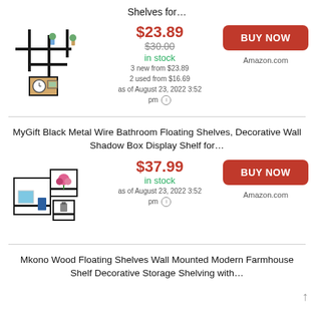Shelves for…
[Figure (photo): Wall-mounted geometric shelf product image with clock and vase decorations]
$23.89
$30.00
in stock
3 new from $23.89
2 used from $16.69
as of August 23, 2022 3:52 pm
BUY NOW
Amazon.com
MyGift Black Metal Wire Bathroom Floating Shelves, Decorative Wall Shadow Box Display Shelf for…
[Figure (photo): Black metal wire bathroom floating shelves product image with frame and flowers]
$37.99
in stock
as of August 23, 2022 3:52 pm
BUY NOW
Amazon.com
Mkono Wood Floating Shelves Wall Mounted Modern Farmhouse Shelf Decorative Storage Shelving with…